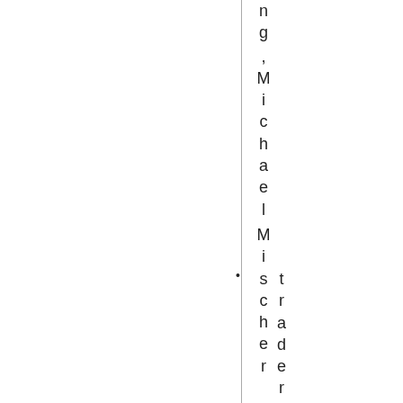ng ,Michael Mischer traderjoes .pr
traderjoes .pr